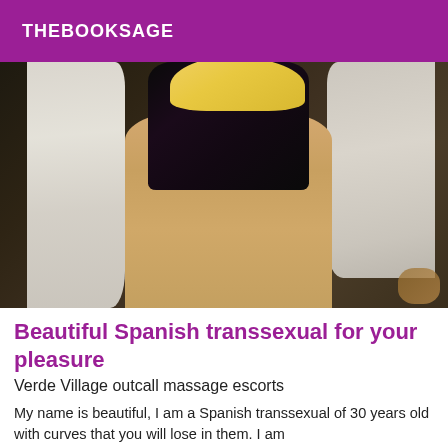THEBOOKSAGE
[Figure (photo): A person wearing a black lace bodysuit and an open white robe, photographed from roughly mid-torso down, showing legs and torso against a dark background.]
Beautiful Spanish transsexual for your pleasure
Verde Village outcall massage escorts
My name is beautiful, I am a Spanish transsexual of 30 years old with curves that you will lose in them. I am